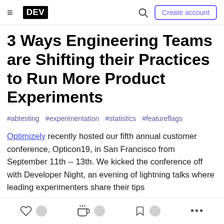DEV | Create account
3 Ways Engineering Teams are Shifting their Practices to Run More Product Experiments
#abtesting  #experimentation  #statistics  #featureflags
Optimizely recently hosted our fifth annual customer conference, Opticon19, in San Francisco from September 11th -- 13th. We kicked the conference off with Developer Night, an evening of lightning talks where leading experimenters share their tips
like, unicorn, bookmark, more options